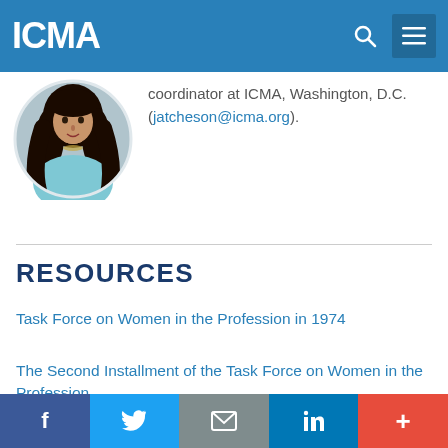ICMA
[Figure (photo): Circular profile photo of a woman with long dark hair wearing a light blue top and gold necklace]
coordinator at ICMA, Washington, D.C. (jatcheson@icma.org).
RESOURCES
Task Force on Women in the Profession in 1974
The Second Installment of the Task Force on Women in the Profession
f  Twitter  Email  in  +